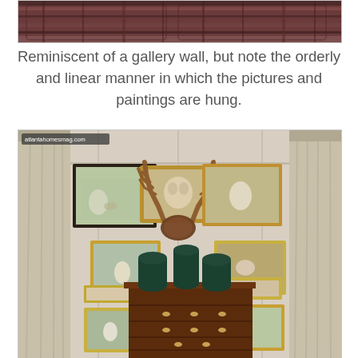[Figure (photo): Top portion of a photo showing a patterned sofa or couch with plaid/tartan fabric, partially cropped]
Reminiscent of a gallery wall, but note the orderly and linear manner in which the pictures and paintings are hung.
[Figure (photo): Interior room photo showing a gallery wall arrangement above a wooden chest of drawers. Multiple framed animal/dog paintings arranged symmetrically on a cream paneled wall. Antler mount in the center. Three dark green ceramic vases on top of the dresser. Curtains on both sides. Watermark reads atlantahomesmag.com]